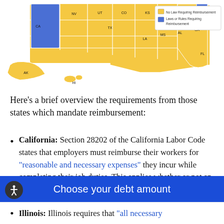[Figure (map): US map showing states with and without laws requiring expense reimbursement. Most states shown in yellow (No Law Requiring Reimbursement), a few in blue (Laws or Rules Requiring Reimbursement). Legend shown in upper right.]
Here's a brief overview the requirements from those states which mandate reimbursement:
California: Section 28202 of the California Labor Code states that employers must reimburse their workers for "reasonable and necessary expenses" they incur while completing their job duties. This applies whether or not an employee's expenses push
Illinois: Illinois requires that "all necessary